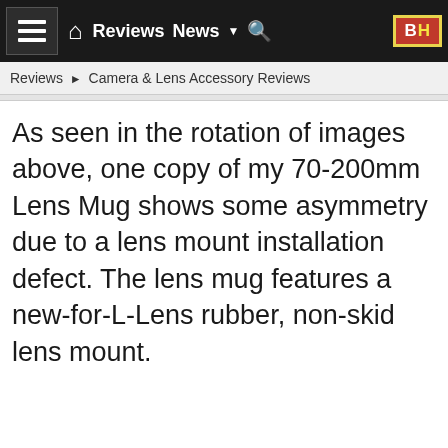☰  Reviews  News  ▼  🔍  B&H
Reviews ▶ Camera & Lens Accessory Reviews
As seen in the rotation of images above, one copy of my 70-200mm Lens Mug shows some asymmetry due to a lens mount installation defect. The lens mug features a new-for-L-Lens rubber, non-skid lens mount.